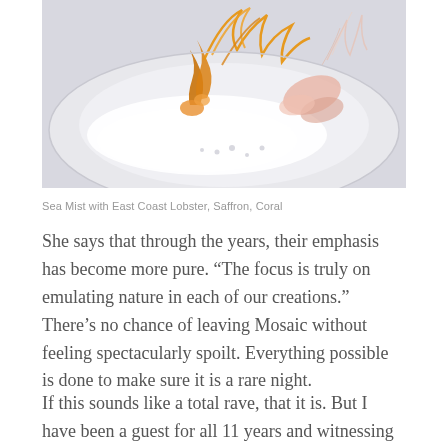[Figure (photo): A white plate with an artistic fine dining dish: Sea Mist with East Coast Lobster, featuring orange/yellow coral-like elements and delicate garnishes on a white misty base.]
Sea Mist with East Coast Lobster, Saffron, Coral
She says that through the years, their emphasis has become more pure. “The focus is truly on emulating nature in each of our creations.” There’s no chance of leaving Mosaic without feeling spectacularly spoilt. Everything possible is done to make sure it is a rare night.
If this sounds like a total rave, that it is. But I have been a guest for all 11 years and witnessing